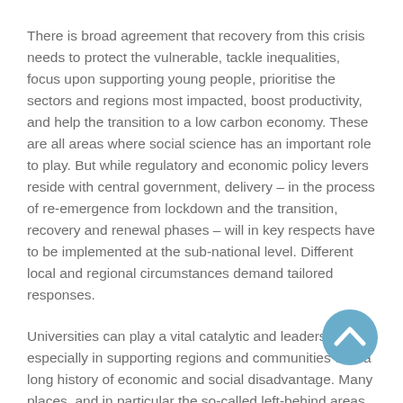There is broad agreement that recovery from this crisis needs to protect the vulnerable, tackle inequalities, focus upon supporting young people, prioritise the sectors and regions most impacted, boost productivity, and help the transition to a low carbon economy. These are all areas where social science has an important role to play. But while regulatory and economic policy levers reside with central government, delivery – in the process of re-emergence from lockdown and the transition, recovery and renewal phases – will in key respects have to be implemented at the sub-national level. Different local and regional circumstances demand tailored responses.
Universities can play a vital catalytic and leadership role, especially in supporting regions and communities with a long history of economic and social disadvantage. Many places, and in particular the so-called left-behind areas, will face great challenges in
[Figure (other): A circular blue scroll-to-top button with an upward-pointing chevron arrow icon, positioned in the lower right area of the page.]